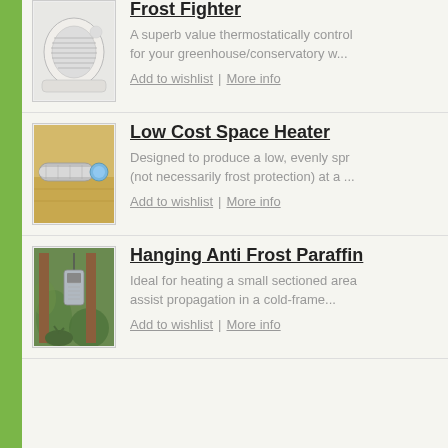[Figure (photo): Photo of a white thermostatically controlled fan heater]
Frost Fighter
A superb value thermostatically control for your greenhouse/conservatory w...
Add to wishlist | More info
[Figure (photo): Photo of a metal tube space heater on a wooden surface]
Low Cost Space Heater
Designed to produce a low, evenly spr (not necessarily frost protection) at a ...
Add to wishlist | More info
[Figure (photo): Photo of a hanging anti frost paraffin heater in a greenhouse]
Hanging Anti Frost Paraffin
Ideal for heating a small sectioned area assist propagation in a cold-frame...
Add to wishlist | More info